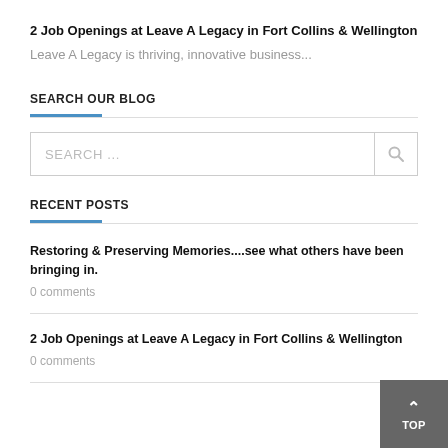2 Job Openings at Leave A Legacy in Fort Collins & Wellington
Leave A Legacy is thriving, innovative business...
SEARCH OUR BLOG
SEARCH ...
RECENT POSTS
Restoring & Preserving Memories....see what others have been bringing in.
0 comments
2 Job Openings at Leave A Legacy in Fort Collins & Wellington
0 comments